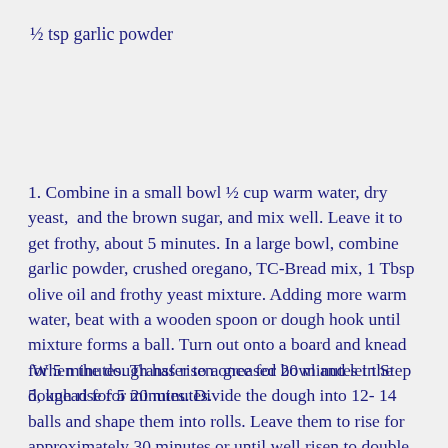½ tsp garlic powder
1. Combine in a small bowl ½ cup warm water, dry yeast,  and the brown sugar, and mix well. Leave it to get frothy, about 5 minutes. In a large bowl, combine garlic powder, crushed oregano, TC-Bread mix, 1 Tbsp olive oil and frothy yeast mixture. Adding more warm water, beat with a wooden spoon or dough hook until mixture forms a ball. Turn out onto a board and knead for 5 minutes. Transfer to a greased bowl and let the dough rise for 20 minutes.
When the dough has risen once for 20 minutes in Step 5, knead for 5 minutes. Divide the dough into 12- 14 balls and shape them into rolls. Leave them to rise for approximately 30 minutes or until well risen to double the size. Bake them in a